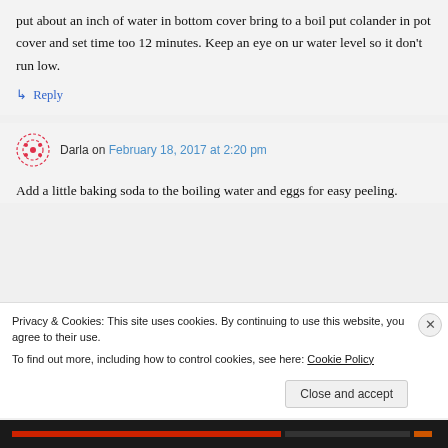put about an inch of water in bottom cover bring to a boil put colander in pot cover and set time too 12 minutes. Keep an eye on ur water level so it don't run low.
↳ Reply
Darla on February 18, 2017 at 2:20 pm
Add a little baking soda to the boiling water and eggs for easy peeling.
Privacy & Cookies: This site uses cookies. By continuing to use this website, you agree to their use.
To find out more, including how to control cookies, see here: Cookie Policy
Close and accept